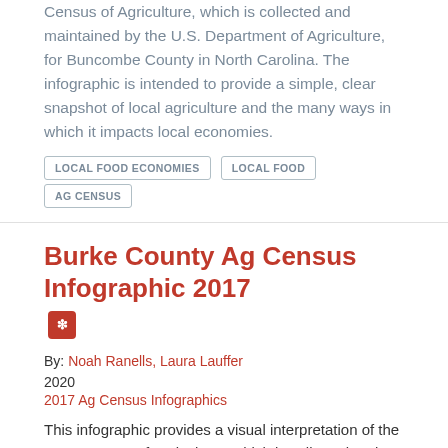Census of Agriculture, which is collected and maintained by the U.S. Department of Agriculture, for Buncombe County in North Carolina. The infographic is intended to provide a simple, clear snapshot of local agriculture and the many ways in which it impacts local economies.
LOCAL FOOD ECONOMIES
LOCAL FOOD
AG CENSUS
Burke County Ag Census Infographic 2017
By: Noah Ranells, Laura Lauffer
2020
2017 Ag Census Infographics
This infographic provides a visual interpretation of the 2017 Census of Agriculture, which is collected and maintained by the U.S. Department of Agriculture, for Burke County in North Carolina. The infographic is intended to provide a simple, clear snapshot of local agriculture and the many ways in which it impacts local economies.
LOCAL FOOD ECONOMIES
LOCAL FOOD
AG CENSUS